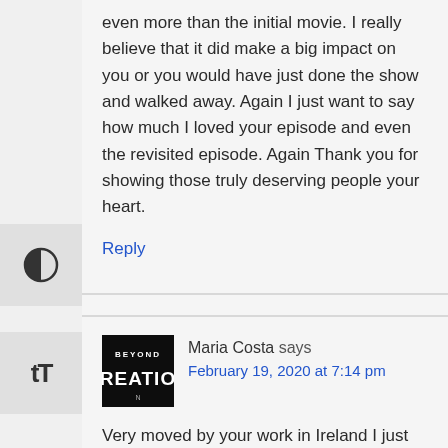even more than the initial movie. I really believe that it did make a big impact on you or you would have just done the show and walked away. Again I just want to say how much I loved your episode and even the revisited episode. Again Thank you for showing those truly deserving people your heart.
Reply
Maria Costa says
February 19, 2020 at 7:14 pm
Very moved by your work in Ireland I just came across this a few nights ago and I agree with